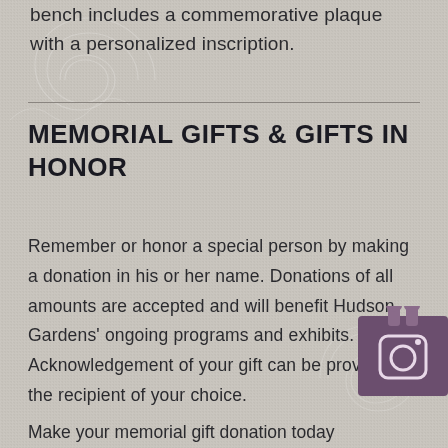bench includes a commemorative plaque with a personalized inscription.
MEMORIAL GIFTS & GIFTS IN HONOR
Remember or honor a special person by making a donation in his or her name. Donations of all amounts are accepted and will benefit Hudson Gardens' ongoing programs and exhibits. Acknowledgement of your gift can be provided to the recipient of your choice.
Make your memorial gift donation today
[Figure (logo): Instagram icon — purple square with camera logo]